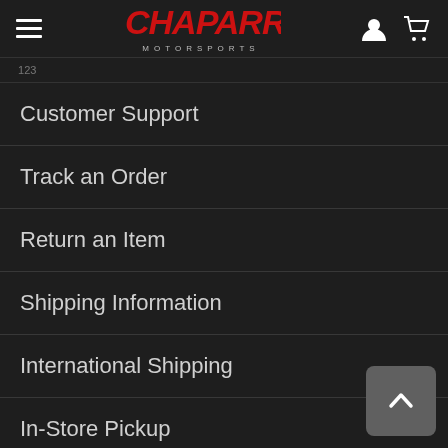Chaparral Motorsports
Customer Support
Track an Order
Return an Item
Shipping Information
International Shipping
In-Store Pickup